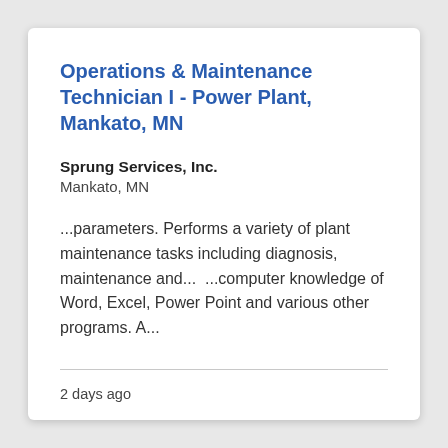Operations & Maintenance Technician I - Power Plant, Mankato, MN
Sprung Services, Inc.
Mankato, MN
...parameters. Performs a variety of plant maintenance tasks including diagnosis, maintenance and...  ...computer knowledge of Word, Excel, Power Point and various other programs. A...
2 days ago